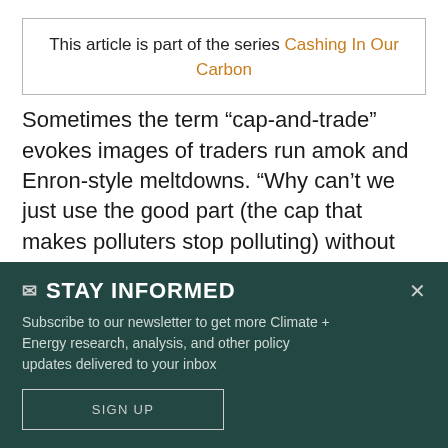This article is part of the series Cashing In Our Carbon
Sometimes the term “cap-and-trade” evokes images of traders run amok and Enron-style meltdowns. “Why can’t we just use the good part (the cap that makes polluters stop polluting) without the questionable part (trading that enables Wall Street
✉ STAY INFORMED
Subscribe to our newsletter to get more Climate + Energy research, analysis, and other policy updates delivered to your inbox
SIGN UP